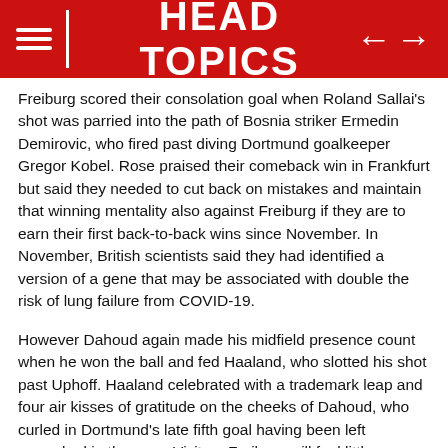HEAD TOPICS
Freiburg scored their consolation goal when Roland Sallai's shot was parried into the path of Bosnia striker Ermedin Demirovic, who fired past diving Dortmund goalkeeper Gregor Kobel. Rose praised their comeback win in Frankfurt but said they needed to cut back on mistakes and maintain that winning mentality also against Freiburg if they are to earn their first back-to-back wins since November. In November, British scientists said they had identified a version of a gene that may be associated with double the risk of lung failure from COVID-19.
However Dahoud again made his midfield presence count when he won the ball and fed Haaland, who slotted his shot past Uphoff. Haaland celebrated with a trademark leap and four air kisses of gratitude on the cheeks of Dahoud, who curled in Dortmund's late fifth goal having been left unmarked in the area. Visitors Freiburg will feel little pressure as they seek their first victory in Dortmund in 20 years. About 48 per cent of the population has received vaccine booster shots. Source: AFP .